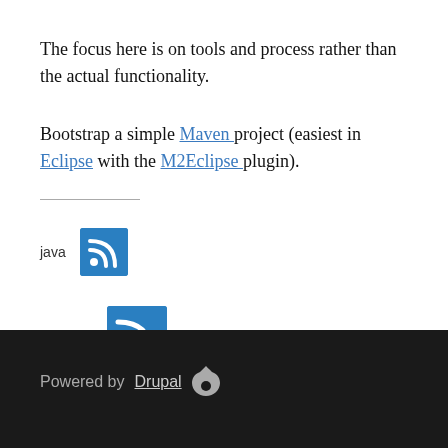The focus here is on tools and process rather than the actual functionality.
Bootstrap a simple Maven project (easiest in Eclipse with the M2Eclipse plugin).
java [RSS icon]
bhgagile [RSS icon]
Powered by Drupal